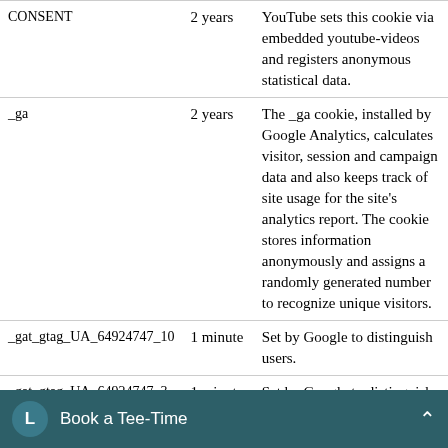| Cookie | Duration | Description |
| --- | --- | --- |
| CONSENT | 2 years | YouTube sets this cookie via embedded youtube-videos and registers anonymous statistical data. |
| _ga | 2 years | The _ga cookie, installed by Google Analytics, calculates visitor, session and campaign data and also keeps track of site usage for the site's analytics report. The cookie stores information anonymously and assigns a randomly generated number to recognize unique visitors. |
| _gat_gtag_UA_64924747_10 | 1 minute | Set by Google to distinguish users. |
| _gat_gtag_UA_64924747_3 | 1 minute | Set by Google to distinguish users. |
| _gat_gtag_UA_64924747_6 | 1 minute | Set by Google to distinguish users. |
Book a Tee-Time